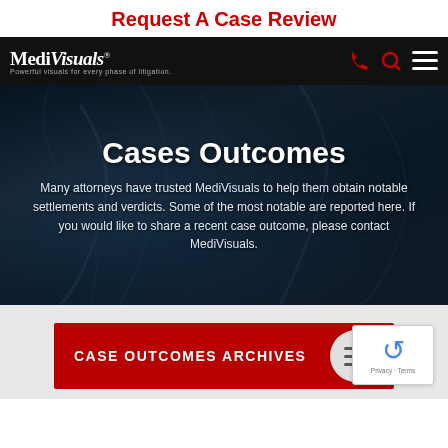Request A Case Review
[Figure (screenshot): MediVisuals website navigation bar with logo, phone icon, search icon, and hamburger menu on dark background]
Cases Outcomes
Many attorneys have trusted MediVisuals to help them obtain notable settlements and verdicts. Some of the most notable are reported here. If you would like to share a recent case outcome, please contact MediVisuals.
CASE OUTCOMES ARCHIVES